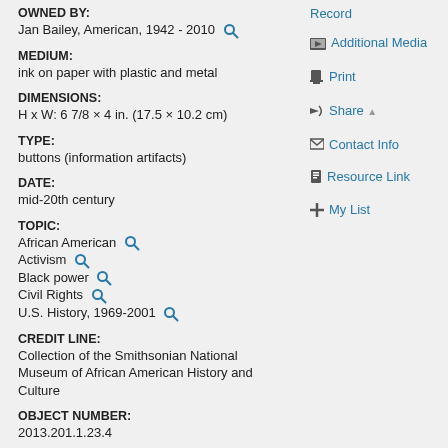OWNED BY:
Jan Bailey, American, 1942 - 2010
MEDIUM:
ink on paper with plastic and metal
DIMENSIONS:
H x W: 6 7/8 × 4 in. (17.5 × 10.2 cm)
TYPE:
buttons (information artifacts)
DATE:
mid-20th century
TOPIC:
African American
Activism
Black power
Civil Rights
U.S. History, 1969-2001
CREDIT LINE:
Collection of the Smithsonian National Museum of African American History and Culture
OBJECT NUMBER:
2013.201.1.23.4
RESTRICTIONS & RIGHTS:
Record
Additional Media
Print
Share
Contact Info
Resource Link
My List